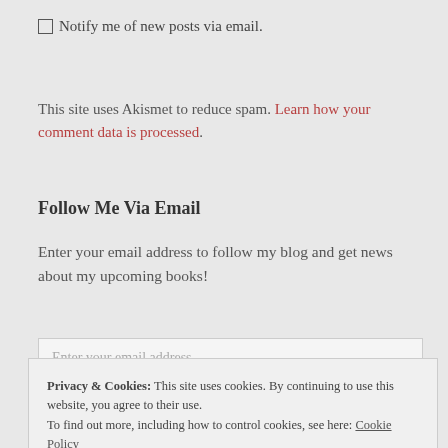☐ Notify me of new posts via email.
This site uses Akismet to reduce spam. Learn how your comment data is processed.
Follow Me Via Email
Enter your email address to follow my blog and get news about my upcoming books!
Enter your email address
Privacy & Cookies: This site uses cookies. By continuing to use this website, you agree to their use.
To find out more, including how to control cookies, see here: Cookie Policy
Close and accept
Join 6 other followers